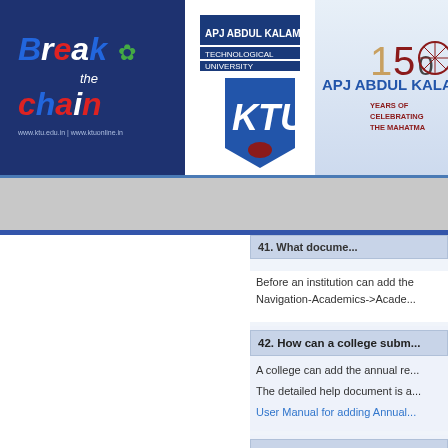[Figure (logo): Break the Chain logo with KTU university logo and APJ Abdul Kalam Technological University header with 150 years celebrating the Mahatma emblem]
42. How can a college subm...
A college can add the annual re...
The detailed help document is a...
User Manual for adding Annual...
43. How can a college add t...